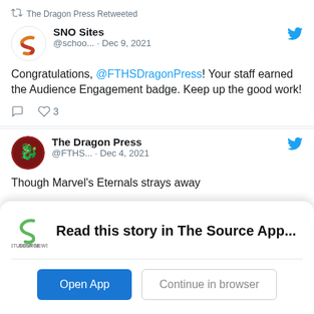The Dragon Press Retweeted
SNO Sites @schoo... · Dec 9, 2021
Congratulations, @FTHSDragonPress! Your staff earned the Audience Engagement badge. Keep up the good work!
♡ 3
The Dragon Press @FTHS... · Dec 4, 2021
Though Marvel's Eternals strays away
Read this story in The Source App...
Open App
Continue in browser